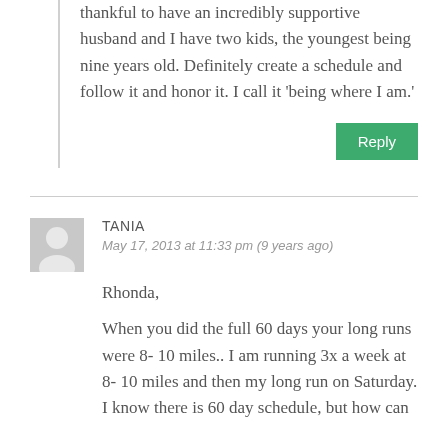thankful to have an incredibly supportive husband and I have two kids, the youngest being nine years old. Definitely create a schedule and follow it and honor it. I call it 'being where I am.'
Reply
TANIA
May 17, 2013 at 11:33 pm (9 years ago)
Rhonda,
When you did the full 60 days your long runs were 8- 10 miles.. I am running 3x a week at 8- 10 miles and then my long run on Saturday. I know there is 60 day schedule, but how can